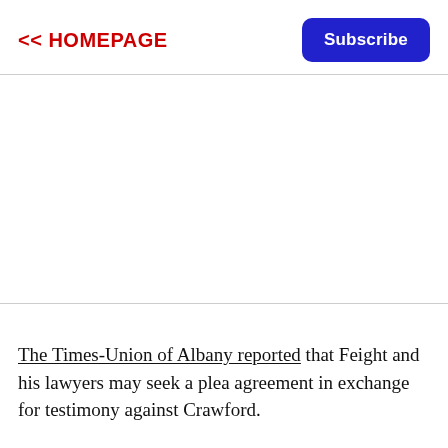<< HOMEPAGE
Subscribe
The Times-Union of Albany reported that Feight and his lawyers may seek a plea agreement in exchange for testimony against Crawford.